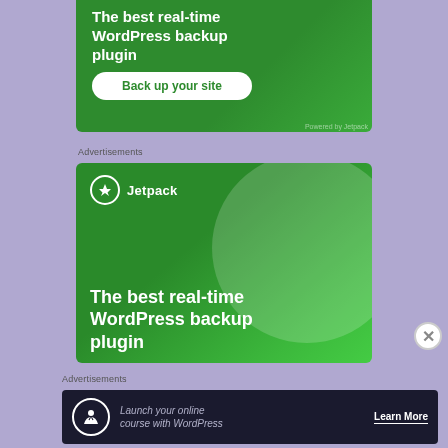[Figure (screenshot): Cropped top of Jetpack WordPress backup plugin advertisement on a lavender background. Green banner showing partial text 'The best real-time WordPress backup plugin' with a 'Back up your site' white button.]
Advertisements
[Figure (screenshot): Jetpack advertisement banner. Green background with decorative circle. Jetpack logo (lightning bolt circle icon) and brand name at top. Text reads 'The best real-time WordPress backup plugin'.]
Advertisements
[Figure (screenshot): Dark navy advertisement banner for online course with WordPress. Icon showing person under tree. Text: 'Launch your online course with WordPress'. Button: 'Learn More'.]